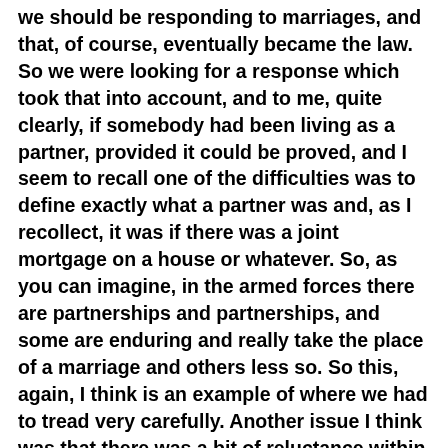we should be responding to marriages, and that, of course, eventually became the law. So we were looking for a response which took that into account, and to me, quite clearly, if somebody had been living as a partner, provided it could be proved, and I seem to recall one of the difficulties was to define exactly what a partner was and, as I recollect, it was if there was a joint mortgage on a house or whatever. So, as you can imagine, in the armed forces there are partnerships and partnerships, and some are enduring and really take the place of a marriage and others less so. So this, again, I think is an example of where we had to tread very carefully. Another issue I think was that there was a bit of reluctance within some parts of the armed forces on the partnership issue. It wasn't generally accepted that it was going to be necessarily a good thing to have people who were married and people who were partners, and we are going back eight years now, so obviously the situation has changed since, living on the same married quarter, etc. So there were issues like that. That's why I say that coordination, consultation with the principal personnel officers and, of course, with ministers on this issue, and